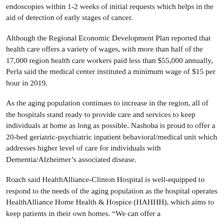endoscopies within 1-2 weeks of initial requests which helps in the aid of detection of early stages of cancer.
Although the Regional Economic Development Plan reported that health care offers a variety of wages, with more than half of the 17,000 region health care workers paid less than $55,000 annually, Perla said the medical center instituted a minimum wage of $15 per hour in 2019.
As the aging population continues to increase in the region, all of the hospitals stand ready to provide care and services to keep individuals at home as long as possible. Nashoba is proud to offer a 20-bed geriatric-psychiatric inpatient behavioral/medical unit which addresses higher level of care for individuals with Dementia/Alzheimer’s associated disease.
Roach said HealthAlliance-Clinton Hospital is well-equipped to respond to the needs of the aging population as the hospital operates HealthAlliance Home Health & Hospice (HAHHH), which aims to keep patients in their own homes. “We can offer a